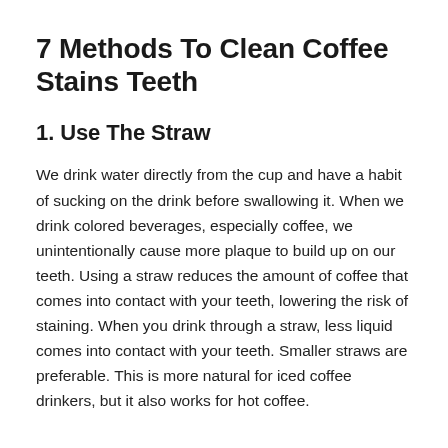7 Methods To Clean Coffee Stains Teeth
1. Use The Straw
We drink water directly from the cup and have a habit of sucking on the drink before swallowing it. When we drink colored beverages, especially coffee, we unintentionally cause more plaque to build up on our teeth. Using a straw reduces the amount of coffee that comes into contact with your teeth, lowering the risk of staining. When you drink through a straw, less liquid comes into contact with your teeth. Smaller straws are preferable. This is more natural for iced coffee drinkers, but it also works for hot coffee.